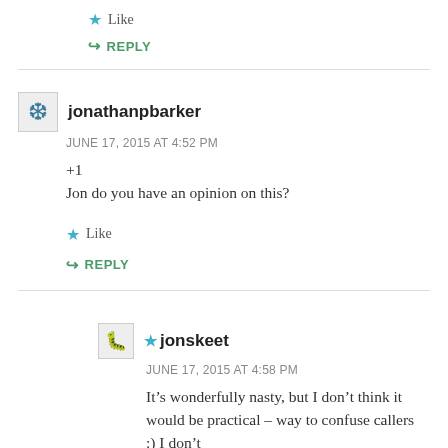Like
REPLY
jonathanpbarker
JUNE 17, 2015 AT 4:52 PM
+1
Jon do you have an opinion on this?
Like
REPLY
jonskeet
JUNE 17, 2015 AT 4:58 PM
It’s wonderfully nasty, but I don’t think it would be practical – way to confuse callers :) I don’t